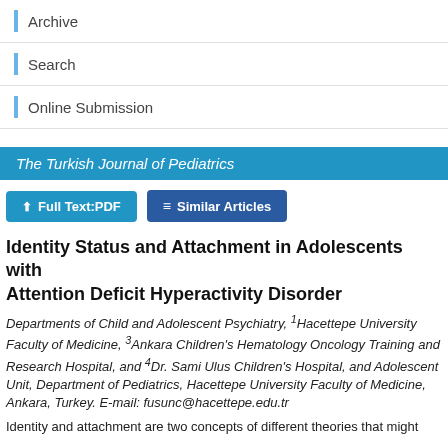Archive
Search
Online Submission
The Turkish Journal of Pediatrics
Full Text:PDF   Similar Articles
Identity Status and Attachment in Adolescents with Attention Deficit Hyperactivity Disorder
Departments of Child and Adolescent Psychiatry, 1Hacettepe University Faculty of Medicine, 3Ankara Children's Hematology Oncology Training and Research Hospital, and 4Dr. Sami Ulus Children's Hospital, and Adolescent Unit, Department of Pediatrics, Hacettepe University Faculty of Medicine, Ankara, Turkey. E-mail: fusunc@hacettepe.edu.tr
Identity and attachment are two concepts of different theories that might